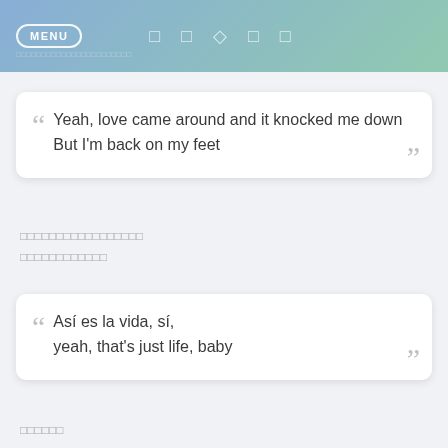MENU   □ □ ◇ □ □
Yeah, love came around and it knocked me down
But I'm back on my feet
□□□□□□□□□□□□□□□□
□□□□□□□□□□□□
Así es la vida, sí,
yeah, that's just life, baby
□□□□□□
□□□□□□□□□□□□□□
I was barely standin', but now I'm dancin'
He's all over me